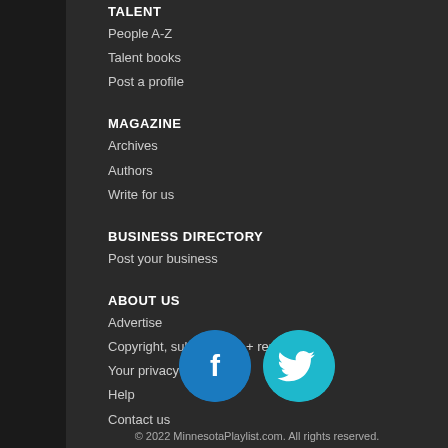TALENT
People A-Z
Talent books
Post a profile
MAGAZINE
Archives
Authors
Write for us
BUSINESS DIRECTORY
Post your business
ABOUT US
Advertise
Copyright, submissions + reprints
Your privacy
Help
Contact us
[Figure (illustration): Facebook and Twitter social media icons as circular buttons]
© 2022 MinnesotaPlaylist.com. All rights reserved.